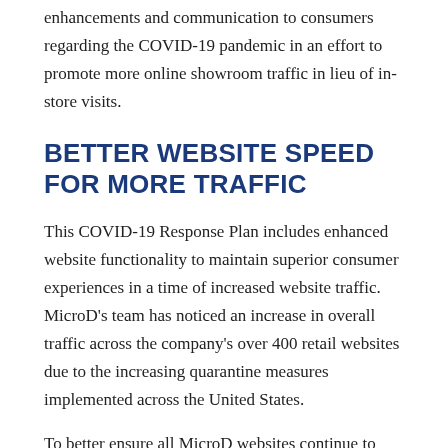enhancements and communication to consumers regarding the COVID-19 pandemic in an effort to promote more online showroom traffic in lieu of in-store visits.
BETTER WEBSITE SPEED FOR MORE TRAFFIC
This COVID-19 Response Plan includes enhanced website functionality to maintain superior consumer experiences in a time of increased website traffic. MicroD's team has noticed an increase in overall traffic across the company's over 400 retail websites due to the increasing quarantine measures implemented across the United States.
To better ensure all MicroD websites continue to deliver an excellent response in light of this online traffic increase, MicroD proactively implemented Cloudflare's Argo Smart